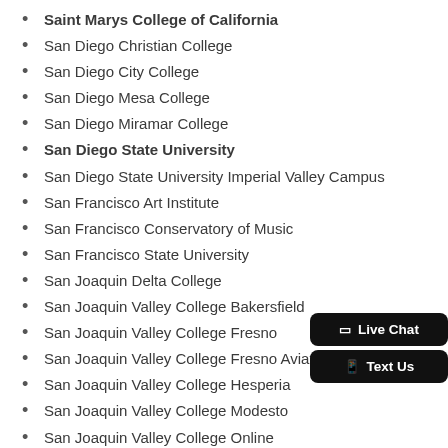Saint Marys College of California
San Diego Christian College
San Diego City College
San Diego Mesa College
San Diego Miramar College
San Diego State University
San Diego State University Imperial Valley Campus
San Francisco Art Institute
San Francisco Conservatory of Music
San Francisco State University
San Joaquin Delta College
San Joaquin Valley College Bakersfield
San Joaquin Valley College Fresno
San Joaquin Valley College Fresno Aviation
San Joaquin Valley College Hesperia
San Joaquin Valley College Modesto
San Joaquin Valley College Online
San Joaquin Valley College Rancho Cordova
San Joaquin Valley College Rancho Cucamonga